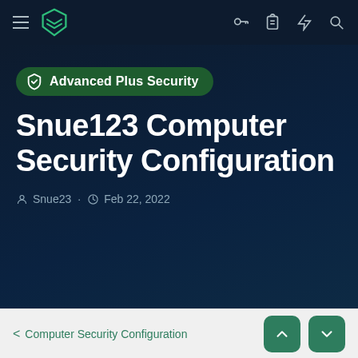Malwarebytes app navigation bar with hamburger menu, logo, key icon, clipboard icon, lightning icon, search icon
[Figure (screenshot): Advanced Plus Security badge with shield checkmark icon on dark navy background]
Snue123 Computer Security Configuration
Snue23 · Feb 22, 2022
Computer Security Configuration — navigation with up and down arrow buttons